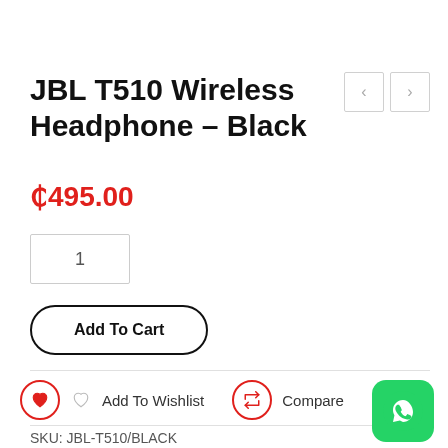JBL T510 Wireless Headphone – Black
₵495.00
1
Add To Cart
Add To Wishlist
Compare
SKU: JBL-T510/BLACK